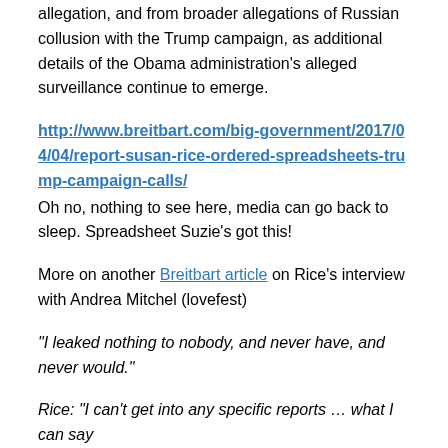allegation, and from broader allegations of Russian collusion with the Trump campaign, as additional details of the Obama administration's alleged surveillance continue to emerge.
http://www.breitbart.com/big-government/2017/04/04/report-susan-rice-ordered-spreadsheets-trump-campaign-calls/
Oh no, nothing to see here, media can go back to sleep. Spreadsheet Suzie's got this!
More on another Breitbart article on Rice's interview with Andrea Mitchel (lovefest)
“I leaked nothing to nobody, and never have, and never would.”
Rice: “I can’t get into any specific reports … what I can say